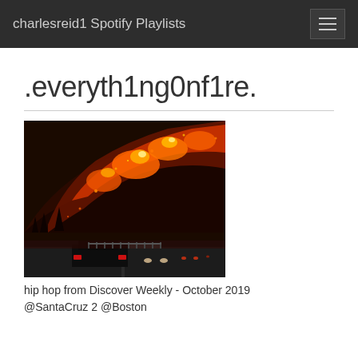charlesreid1 Spotify Playlists
.everyth1ng0nf1re.
[Figure (photo): A wildfire burning on a hillside at night, with cars on a highway in the foreground. Intense orange and red flames and embers visible across the slope.]
hip hop from Discover Weekly - October 2019 @SantaCruz 2 @Boston